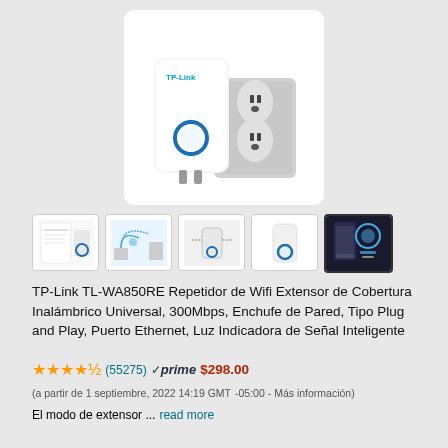[Figure (photo): TP-Link TL-WA850RE WiFi extender plugged into a wall outlet, white device with blue LED ring]
[Figure (photo): Thumbnail 1: product specifications sheet]
[Figure (photo): Thumbnail 2: network coverage diagram]
[Figure (photo): Thumbnail 3: device positioning diagram]
[Figure (photo): Thumbnail 4: product front view with blue LED]
[Figure (photo): Thumbnail 5: smartphone app interface (active/selected)]
TP-Link TL-WA850RE Repetidor de Wifi Extensor de Cobertura Inalámbrico Universal, 300Mbps, Enchufe de Pared, Tipo Plug and Play, Puerto Ethernet, Luz Indicadora de Señal Inteligente
★★★★½ (55275) ✓prime $298.00 (a partir de 1 septiembre, 2022 14:19 GMT -05:00 - Más información) El modo de extensor ... read more